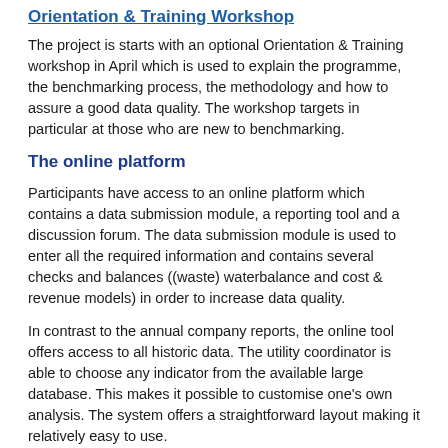Orientation & Training Workshop
The project is starts with an optional Orientation & Training workshop in April which is used to explain the programme, the benchmarking process, the methodology and how to assure a good data quality. The workshop targets in particular at those who are new to benchmarking.
The online platform
Participants have access to an online platform which contains a data submission module, a reporting tool and a discussion forum. The data submission module is used to enter all the required information and contains several checks and balances ((waste) waterbalance and cost & revenue models) in order to increase data quality.
In contrast to the annual company reports, the online tool offers access to all historic data. The utility coordinator is able to choose any indicator from the available large database. This makes it possible to customise one's own analysis. The system offers a straightforward layout making it relatively easy to use.